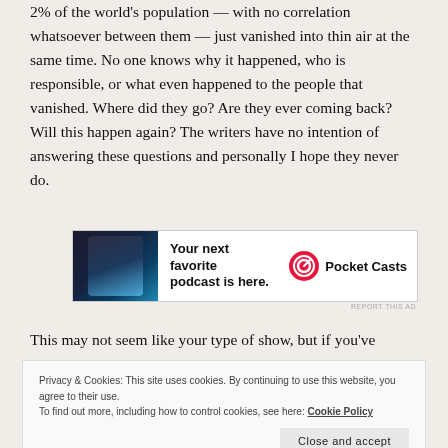2% of the world's population — with no correlation whatsoever between them — just vanished into thin air at the same time. No one knows why it happened, who is responsible, or what even happened to the people that vanished. Where did they go? Are they ever coming back? Will this happen again? The writers have no intention of answering these questions and personally I hope they never do.
[Figure (illustration): Pocket Casts advertisement banner showing app interface on dark background with text 'Your next favorite podcast is here.' and Pocket Casts logo]
This may not seem like your type of show, but if you've
Privacy & Cookies: This site uses cookies. By continuing to use this website, you agree to their use. To find out more, including how to control cookies, see here: Cookie Policy
Close and accept
with this show on some level.